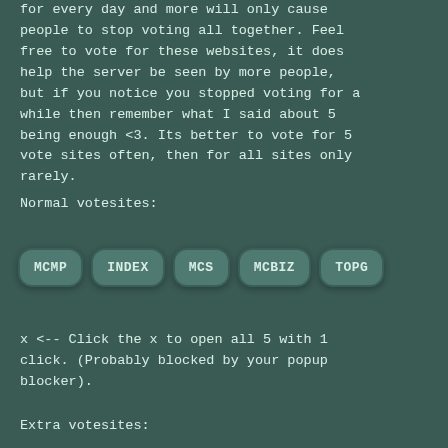for every day and more will only cause people to stop voting all together. Feel free to vote for these websites, it does help the server be seen by more people, but if you notice you stopped voting for a while then remember what I said about 5 being enough <3. Its better to vote for 5 vote sites often, then for all sites only rarely.
Normal votesites:
[Figure (other): Five rounded rectangular buttons labeled MCMP, INDEX, MCS, MCBIZ, TOPG arranged in a horizontal row]
x <-- Click the x to open all 5 with 1 click. (Probably blocked by your popup blocker).
Extra votesites: